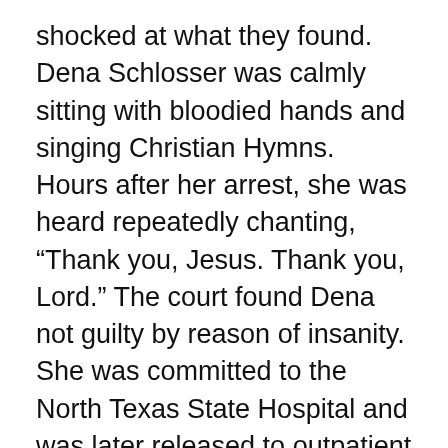shocked at what they found. Dena Schlosser was calmly sitting with bloodied hands and singing Christian Hymns. Hours after her arrest, she was heard repeatedly chanting, “Thank you, Jesus. Thank you, Lord.” The court found Dena not guilty by reason of insanity. She was committed to the North Texas State Hospital and was later released to outpatient status.
In the end, poor, innocent Margaret suffered the consequences of Dena & John’s Schlosser disregard for proper clinical treatment & blind devotion for Doyle Davidson.